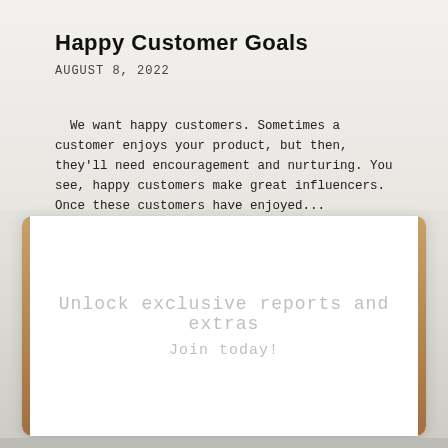Happy Customer Goals
AUGUST 8, 2022
We want happy customers. Sometimes a customer enjoys your product, but then, they'll need encouragement and nurturing. You see, happy customers make great influencers. Once these customers have enjoyed...
[Figure (other): A white card with gold/bronze left and right accent borders, containing faint watermark text reading 'Unlock exclusive reports and extras' and 'Join today!' on a white background.]